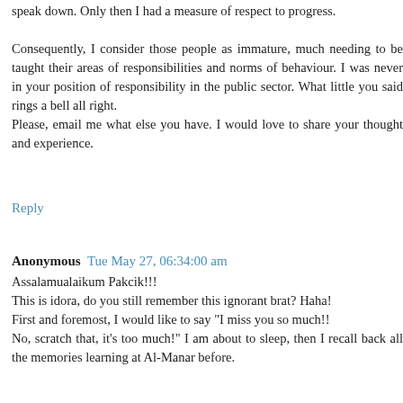speak down. Only then I had a measure of respect to progress. Consequently, I consider those people as immature, much needing to be taught their areas of responsibilities and norms of behaviour. I was never in your position of responsibility in the public sector. What little you said rings a bell all right.
Please, email me what else you have. I would love to share your thought and experience.
Reply
Anonymous Tue May 27, 06:34:00 am
Assalamualaikum Pakcik!!!
This is idora, do you still remember this ignorant brat? Haha!
First and foremost, I would like to say "I miss you so much!!
No, scratch that, it's too much!" I am about to sleep, then I recall back all the memories learning at Al-Manar before.